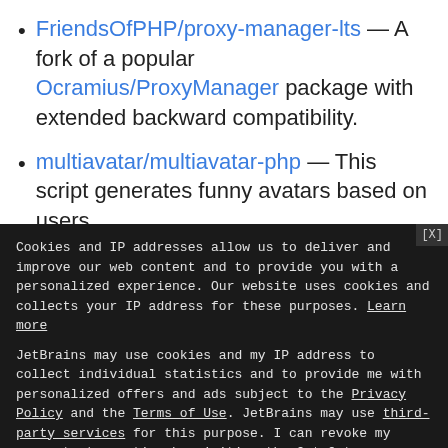FriendsOfPHP/proxy-manager-lts — A fork of a popular Ocramius/ProxyManager package with extended backward compatibility.
multiavatar/multiavatar-php — This script generates funny avatars based on users (continues...)
Cookies and IP addresses allow us to deliver and improve our web content and to provide you with a personalized experience. Our website uses cookies and collects your IP address for these purposes. Learn more
JetBrains may use cookies and my IP address to collect individual statistics and to provide me with personalized offers and ads subject to the Privacy Policy and the Terms of Use. JetBrains may use third-party services for this purpose. I can revoke my consent at any time by visiting the Opt-Out page.
[Yes, I agree]   [No, thanks]